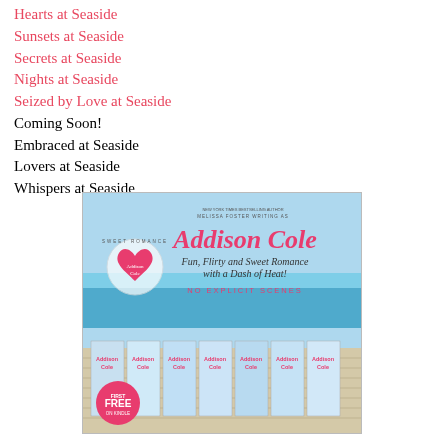Hearts at Seaside
Sunsets at Seaside
Secrets at Seaside
Nights at Seaside
Seized by Love at Seaside
Coming Soon!
Embraced at Seaside
Lovers at Seaside
Whispers at Seaside
[Figure (illustration): Addison Cole author banner image showing multiple book covers on a beach-themed background with text: 'Addison Cole — Fun, Flirty and Sweet Romance with a Dash of Heat! NO EXPLICIT SCENES' and a pink heart logo. Multiple book spines visible at bottom.]